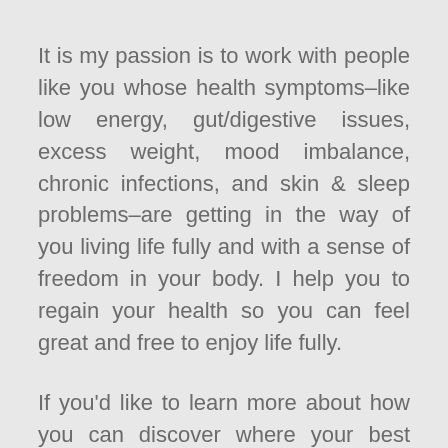It is my passion is to work with people like you whose health symptoms–like low energy, gut/digestive issues, excess weight, mood imbalance, chronic infections, and skin & sleep problems–are getting in the way of you living life fully and with a sense of freedom in your body. I help you to regain your health so you can feel great and free to enjoy life fully.
If you'd like to learn more about how you can discover where your best health has been hiding, I'd love to connect with you!